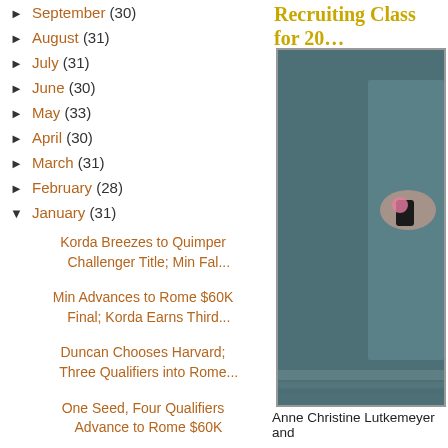► September (30)
► August (31)
► July (31)
► June (30)
► May (33)
► April (30)
► March (31)
► February (28)
▼ January (31)
Korda Breezes to Quimper Challenger Title; Min Fal...
Min Advances to Rome $60K Final; Korda Earns Third...
Duncan Chooses Harvard; Three Qualifiers into Rome...
One Seed, Four Qualifiers Advance to Rome $60K
Recruiting Class for 20...
[Figure (photo): Photo of Anne Christine Lutkemeyer and another person, appears to be a tennis or sports related photo with teal/grey background]
Anne Christine Lutkemeyer and